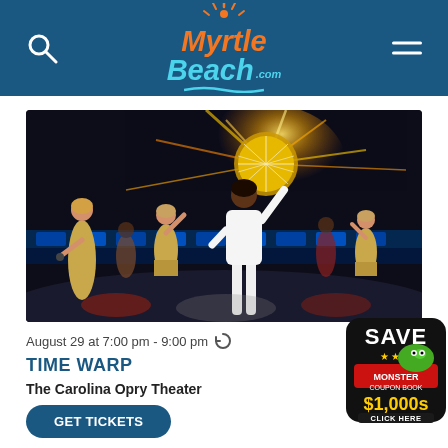MyrtleBeach.com
[Figure (photo): Performers on stage at Time Warp show at The Carolina Opry Theater. Dancers in gold sequined costumes and a man in white suit raising his arm toward a disco ball with sparkling light effects.]
August 29 at 7:00 pm - 9:00 pm
TIME WARP
The Carolina Opry Theater
[Figure (logo): SAVE Monster Coupon Book $1,000s CLICK HERE badge with cartoon alligator]